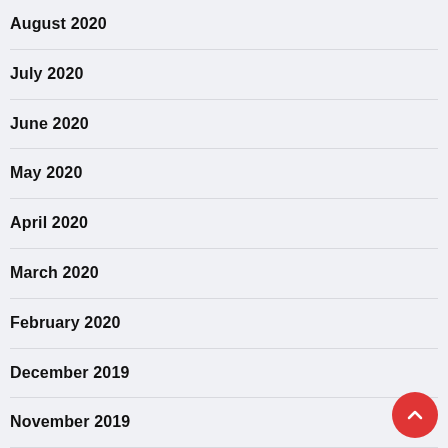August 2020
July 2020
June 2020
May 2020
April 2020
March 2020
February 2020
December 2019
November 2019
October 2019